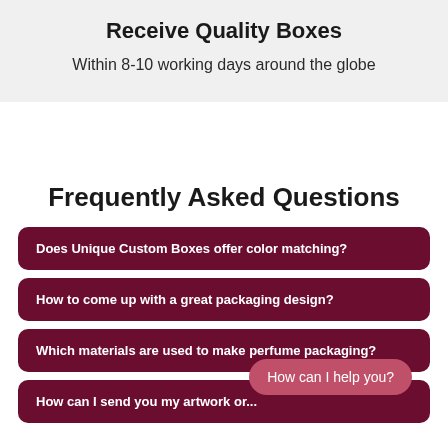Receive Quality Boxes
Within 8-10 working days around the globe
Frequently Asked Questions
Does Unique Custom Boxes offer color matching?
How to come up with a great packaging design?
Which materials are used to make perfume packaging?
How can I send you my artwork or...
How can I help you?